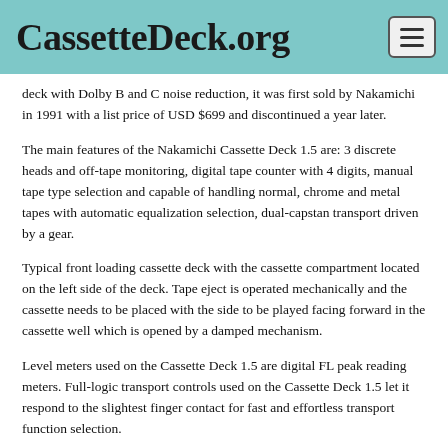CassetteDeck.org
deck with Dolby B and C noise reduction, it was first sold by Nakamichi in 1991 with a list price of USD $699 and discontinued a year later.
The main features of the Nakamichi Cassette Deck 1.5 are: 3 discrete heads and off-tape monitoring, digital tape counter with 4 digits, manual tape type selection and capable of handling normal, chrome and metal tapes with automatic equalization selection, dual-capstan transport driven by a gear.
Typical front loading cassette deck with the cassette compartment located on the left side of the deck. Tape eject is operated mechanically and the cassette needs to be placed with the side to be played facing forward in the cassette well which is opened by a damped mechanism.
Level meters used on the Cassette Deck 1.5 are digital FL peak reading meters. Full-logic transport controls used on the Cassette Deck 1.5 let it respond to the slightest finger contact for fast and effortless transport function selection.